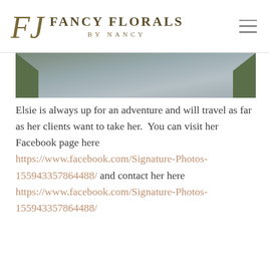[Figure (logo): Fancy Florals by Nancy logo with script FF monogram and serif text]
[Figure (photo): A road or pathway viewed from above, with grass on both sides, in muted grays and greens]
Elsie is always up for an adventure and will travel as far as her clients want to take her.  You can visit her Facebook page here https://www.facebook.com/Signature-Photos-155943357864488/ and contact her here https://www.facebook.com/Signature-Photos-155943357864488/